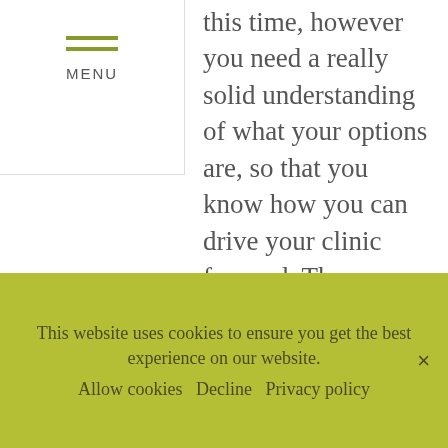MENU
this time, however you need a really solid understanding of what your options are, so that you know how you can drive your clinic forward. Then, once you know what you want from your clinic, you need to develop an effective working business plan to provide consistent focus on what important actions you need to do, day-to-day, week-to-week, and month-to-month.
This website uses cookies to ensure you get the best experience on our website. Allow cookies  Decline  Privacy policy